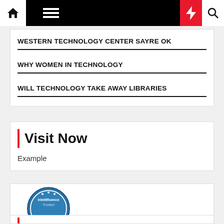Navigation bar with home, menu, dark mode, bolt/breaking, search icons
WESTERN TECHNOLOGY CENTER SAYRE OK
WHY WOMEN IN TECHNOLOGY
WILL TECHNOLOGY TAKE AWAY LIBRARIES
Visit Now
Example
[Figure (logo): Intellifluence Trusted Blogger badge — blue circular badge with gold ribbon banner reading BLOGGER]